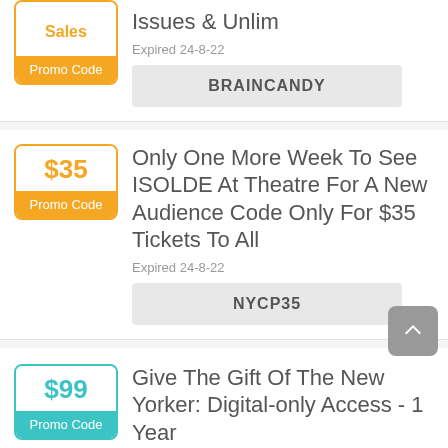Sales
Promo Code
Issues & Unlim
Expired 24-8-22
BRAINCANDY
$35
Promo Code
Only One More Week To See ISOLDE At Theatre For A New Audience Code Only For $35 Tickets To All
Expired 24-8-22
NYCP35
$99
Give The Gift Of The New Yorker: Digital-only Access - 1 Year